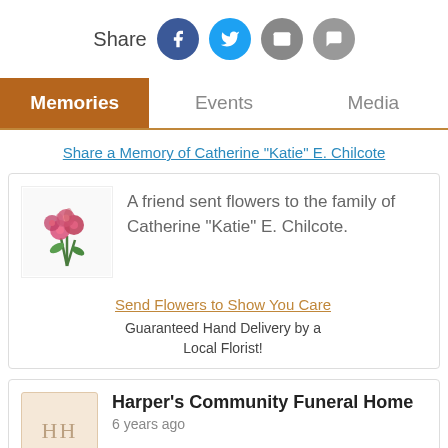[Figure (infographic): Share row with Facebook, Twitter, Email, and SMS icon buttons]
Memories | Events | Media
Share a Memory of Catherine "Katie" E. Chilcote
[Figure (illustration): Flowers bouquet image thumbnail]
A friend sent flowers to the family of Catherine "Katie" E. Chilcote.
Send Flowers to Show You Care
Guaranteed Hand Delivery by a Local Florist!
Harper's Community Funeral Home
6 years ago